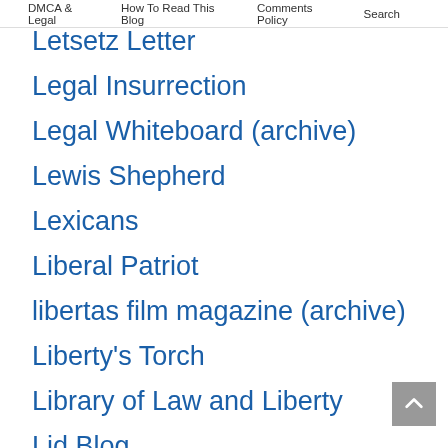DMCA & Legal   How To Read This Blog   Comments Policy   Search
Letsetz Letter
Legal Insurrection
Legal Whiteboard (archive)
Lewis Shepherd
Lexicans
Liberal Patriot
libertas film magazine (archive)
Liberty's Torch
Library of Law and Liberty
Lid Blog
Likelihood of Confusion
Lileks
Long War Journal